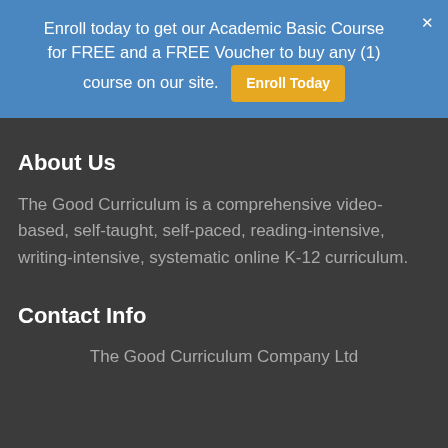Enroll today to get our Academic Basic Course for FREE and a FREE Voucher to buy any (1) course on our site. Enroll Today
About Us
The Good Curriculum is a comprehensive video-based, self-taught, self-paced, reading-intensive, writing-intensive, systematic online K-12 curriculum.
Contact Info
The Good Curriculum Company Ltd